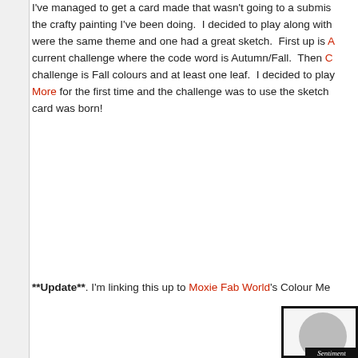I've managed to get a card made that wasn't going to a submission the crafty painting I've been doing. I decided to play along with were the same theme and one had a great sketch. First up is A current challenge where the code word is Autumn/Fall. Then C challenge is Fall colours and at least one leaf. I decided to play More for the first time and the challenge was to use the sketch card was born!
**Update**. I'm linking this up to Moxie Fab World's Colour Mec
[Figure (illustration): A card sketch/template showing a large gray circle on a white background with a black border, and a black banner overlapping the circle that reads 'Sentiment' in white script font.]